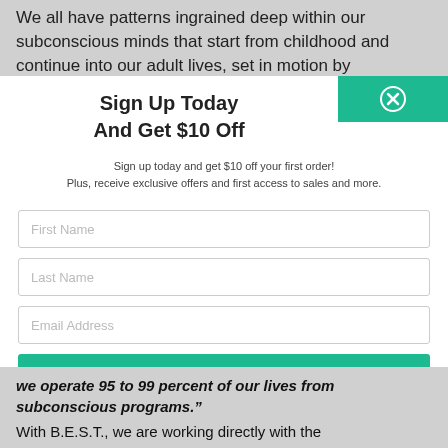We all have patterns ingrained deep within our subconscious minds that start from childhood and continue into our adult lives, set in motion by
Sign Up Today
And Get $10 Off
Sign up today and get $10 off your first order!
Plus, receive exclusive offers and first access to sales and more.
First Name
Last Name
Email Address
SUBSCRIBE
we operate 95 to 99 percent of our lives from subconscious programs."
With B.E.S.T., we are working directly with the